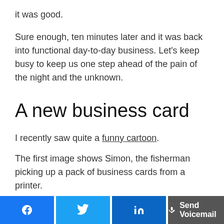it was good.
Sure enough, ten minutes later and it was back into functional day-to-day business. Let's keep busy to keep us one step ahead of the pain of the night and the unknown.
A new business card
I recently saw quite a funny cartoon.
The first image shows Simon, the fisherman picking up a pack of business cards from a printer.
Facebook | Twitter | LinkedIn | Send Voicemail